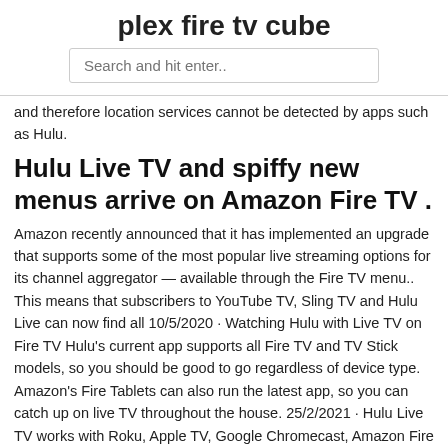plex fire tv cube
[Figure (other): Search input box with placeholder text 'Search and hit enter..']
and therefore location services cannot be detected by apps such as Hulu.
Hulu Live TV and spiffy new menus arrive on Amazon Fire TV .
Amazon recently announced that it has implemented an upgrade that supports some of the most popular live streaming options for its channel aggregator — available through the Fire TV menu.. This means that subscribers to YouTube TV, Sling TV and Hulu Live can now find all 10/5/2020 · Watching Hulu with Live TV on Fire TV Hulu's current app supports all Fire TV and TV Stick models, so you should be good to go regardless of device type. Amazon's Fire Tablets can also run the latest app, so you can catch up on live TV throughout the house. 25/2/2021 · Hulu Live TV works with Roku, Apple TV, Google Chromecast, Amazon Fire TV, select smart TVs, as well as Apple and Android devices, and